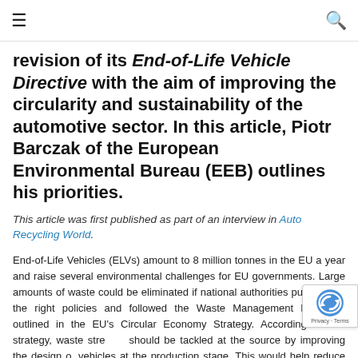≡  🔍
revision of its End-of-Life Vehicle Directive with the aim of improving the circularity and sustainability of the automotive sector. In this article, Piotr Barczak of the European Environmental Bureau (EEB) outlines his priorities.
This article was first published as part of an interview in Auto Recycling World.
End-of-Life Vehicles (ELVs) amount to 8 million tonnes in the EU a year and raise several environmental challenges for EU governments. Large amounts of waste could be eliminated if national authorities put in place the right policies and followed the Waste Management Hierarchy outlined in the EU's Circular Economy Strategy. According to this strategy, waste streams should be tackled at the source by improving the design of vehicles at the production stage. This would help reduce the environmental impact of ELVs, notably by incentivising